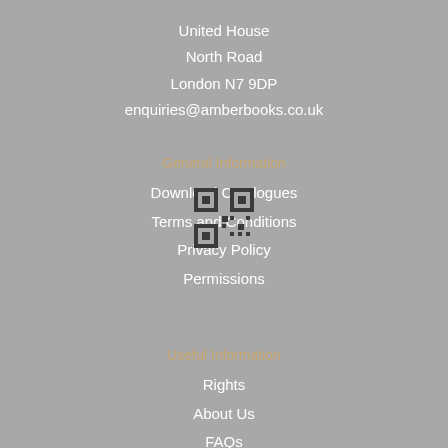United House
North Road
London N7 9DP
enquiries@amberbooks.co.uk
General Information
Download Catalogues
Terms and Conditions
Privacy Policy
Permissions
Useful Information
Rights
About Us
FAQs
Contact Us